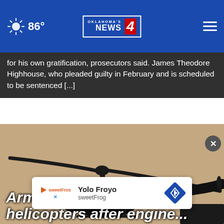Oklahoma's News 4 | 86°
for his own gratification, prosecutors said. James Theodore Highhouse, who pleaded guilty in February and is scheduled to be sentenced [...]
[Figure (photo): Silhouette of a military/transport helicopter against a hazy beige sky, shot from below showing rotor blades and fuselage]
Army grounds helicopters after engine...
[Figure (infographic): Advertisement for Yolo Froyo / sweetFrog with logo and navigation icon]